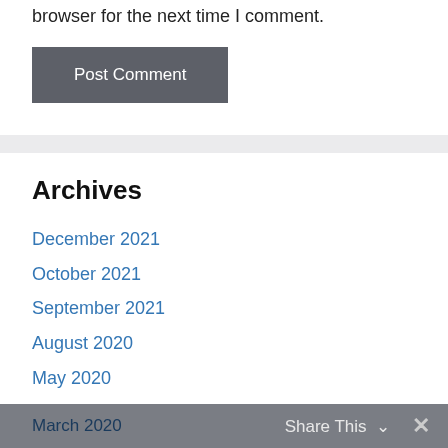browser for the next time I comment.
Post Comment
Archives
December 2021
October 2021
September 2021
August 2020
May 2020
March 2020
Share This ∨  ✕